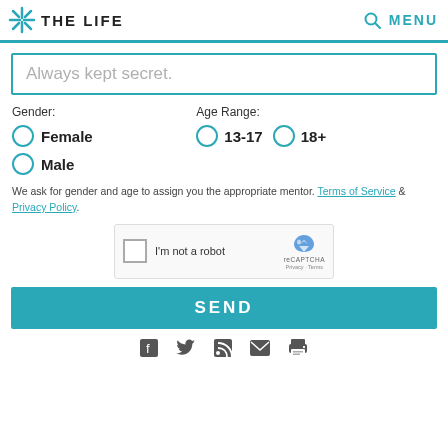THE LIFE MENU
Always kept secret.
Gender:
Female
Male
Age Range:
13-17
18+
We ask for gender and age to assign you the appropriate mentor. Terms of Service & Privacy Policy.
[Figure (other): reCAPTCHA widget with checkbox and 'I'm not a robot' label]
SEND
Social media icons: Facebook, Twitter, RSS, Email, Print